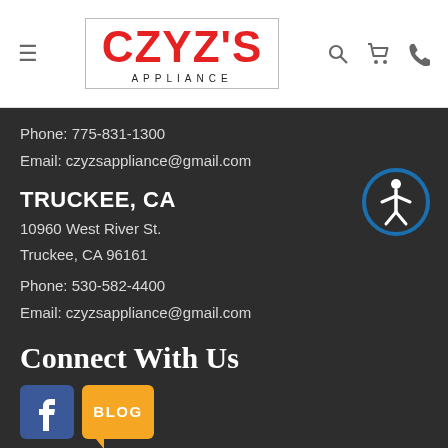[Figure (logo): Czyz's Appliance logo with red bold text CZYZ'S and APPLIANCE in black below, inside a rectangular border]
Phone: 775-831-1300
Email: czyzsappliance@gmail.com
TRUCKEE, CA
10960 West River St.
Truckee, CA 96161
Phone: 530-582-4400
Email: czyzsappliance@gmail.com
Connect With Us
[Figure (logo): Facebook logo icon - white F on blue background]
[Figure (logo): Blog icon - orange speech bubble with BLOG text]